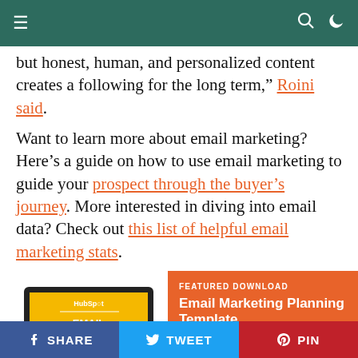Navigation bar with menu, search, and dark mode toggle
but honest, human, and personalized content creates a following for the long term,” Roini said.
Want to learn more about email marketing? Here’s a guide on how to use email marketing to guide your prospect through the buyer’s journey. More interested in diving into email data? Check out this list of helpful email marketing stats.
[Figure (screenshot): Laptop displaying HubSpot Email Planning Template on a yellow screen with white text]
FEATURED DOWNLOAD
Email Marketing Planning Template
Keep track of your scheduled emails and
SHARE   TWEET   PIN